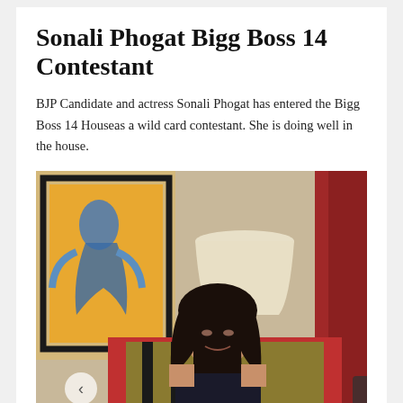Sonali Phogat Bigg Boss 14 Contestant
BJP Candidate and actress Sonali Phogat has entered the Bigg Boss 14 Houseas a wild card contestant. She is doing well in the house.
[Figure (photo): Woman with long dark hair sitting in a red and striped armchair in a hotel room setting, with a framed painting and a lamp in background. Navigation arrows visible at bottom left and bottom right.]